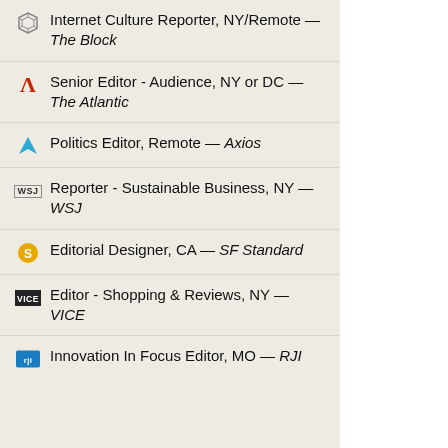Internet Culture Reporter, NY/Remote — The Block
Senior Editor - Audience, NY or DC — The Atlantic
Politics Editor, Remote — Axios
Reporter - Sustainable Business, NY — WSJ
Editorial Designer, CA — SF Standard
Editor - Shopping & Reviews, NY — VICE
Innovation In Focus Editor, MO — RJI